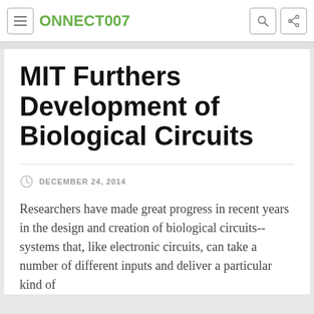CONNECT007
MIT Furthers Development of Biological Circuits
DECEMBER 24, 2014
Researchers have made great progress in recent years in the design and creation of biological circuits--systems that, like electronic circuits, can take a number of different inputs and deliver a particular kind of